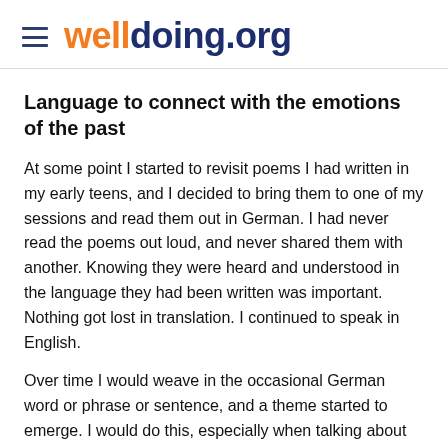welldoing.org
Language to connect with the emotions of the past
At some point I started to revisit poems I had written in my early teens, and I decided to bring them to one of my sessions and read them out in German. I had never read the poems out loud, and never shared them with another. Knowing they were heard and understood in the language they had been written was important. Nothing got lost in translation. I continued to speak in English.
Over time I would weave in the occasional German word or phrase or sentence, and a theme started to emerge. I would do this, especially when talking about experiences that still filled me with intense emotions like anger, outrage, pain, frustration. I would repeat words and sentences in German that had been originally spoken to me, and there was something...